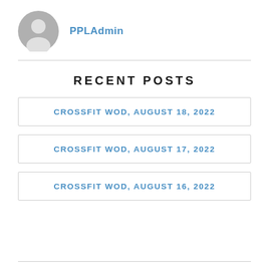[Figure (illustration): Gray circular avatar icon with a silhouette of a person]
PPLAdmin
RECENT POSTS
CROSSFIT WOD, AUGUST 18, 2022
CROSSFIT WOD, AUGUST 17, 2022
CROSSFIT WOD, AUGUST 16, 2022